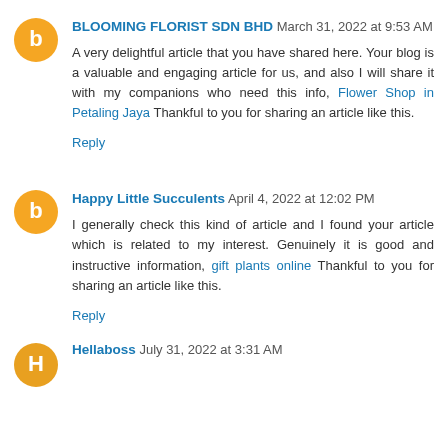BLOOMING FLORIST SDN BHD March 31, 2022 at 9:53 AM
A very delightful article that you have shared here. Your blog is a valuable and engaging article for us, and also I will share it with my companions who need this info, Flower Shop in Petaling Jaya Thankful to you for sharing an article like this.
Reply
Happy Little Succulents April 4, 2022 at 12:02 PM
I generally check this kind of article and I found your article which is related to my interest. Genuinely it is good and instructive information, gift plants online Thankful to you for sharing an article like this.
Reply
Hellaboss July 31, 2022 at 3:31 AM